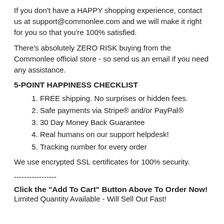If you don't have a HAPPY shopping experience, contact us at support@commonlee.com and we will make it right for you so that you're 100% satisfied.
There's absolutely ZERO RISK buying from the Commonlee official store - so send us an email if you need any assistance.
5-POINT HAPPINESS CHECKLIST
FREE shipping. No surprises or hidden fees.
Safe payments via Stripe® and/or PayPal®
30 Day Money Back Guarantee
Real humans on our support helpdesk!
Tracking number for every order
We use encrypted SSL certificates for 100% security.
-----------------
Click the "Add To Cart" Button Above To Order Now!
Limited Quantity Available - Will Sell Out Fast!